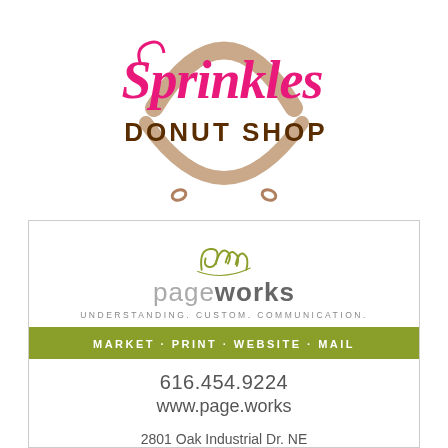[Figure (logo): Sprinkles Donut Shop logo with pink cursive 'Sprinkles' text, brown 'DONUT SHOP' text, and a donut outline illustration]
[Figure (logo): pageworks company logo with olive-green cursive 'Pw' monogram, 'pageworks' in gray/dark text, tagline 'UNDERSTANDING. CUSTOM. COMMUNICATION.', green bar with 'MARKET · PRINT · WEBSITE · MAIL', phone 616.454.9224, website www.page.works, address 2801 Oak Industrial Dr. NE]